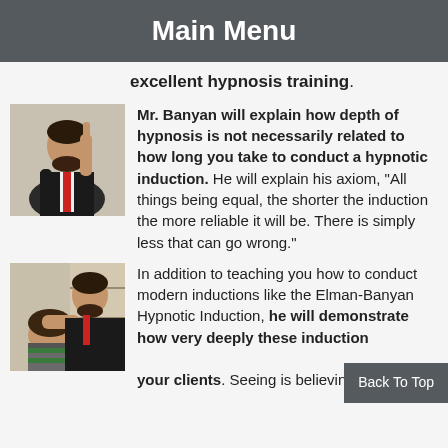Main Menu
excellent hypnosis training.
[Figure (photo): Man in suit gesturing with one finger raised, speaking or teaching]
Mr. Banyan will explain how depth of hypnosis is not necessarily related to how long you take to conduct a hypnotic induction. He will explain his axiom, "All things being equal, the shorter the induction the more reliable it will be. There is simply less that can go wrong."
[Figure (photo): Man in suit placing hand on back of person's head, demonstrating hypnotic induction]
In addition to teaching you how to conduct modern inductions like the Elman-Banyan Hypnotic Induction, he will demonstrate how very deeply these inductions your clients. Seeing is believing